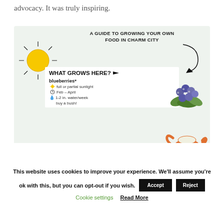advocacy. It was truly inspiring.
[Figure (infographic): An infographic titled 'A Guide to Growing Your Own Food in Charm City' showing a section 'What Grows Here?' with blueberries (full or partial sunlight, Feb-April, 1-2 in. water/week, buy a bush!) and arugula (full sunlight, Feb-April). Includes illustrated sun, blueberry bunch, watering can, and arugula leaves.]
This website uses cookies to improve your experience. We'll assume you're ok with this, but you can opt-out if you wish.
Cookie settings
Read More